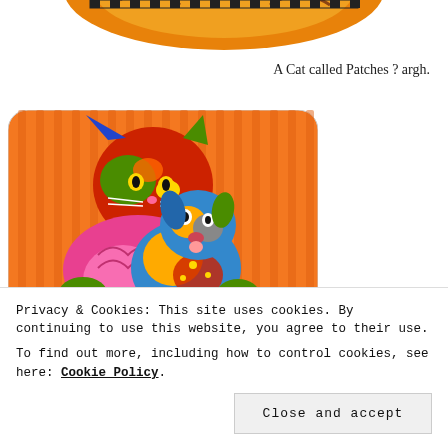[Figure (illustration): Partial view of a colorful illustrated cat at top of page (cropped)]
A Cat called Patches ? argh.
[Figure (illustration): Colorful folk-art style illustration of a bright multi-colored cat and dog against an orange striped background]
Privacy & Cookies: This site uses cookies. By continuing to use this website, you agree to their use.
To find out more, including how to control cookies, see here: Cookie Policy
Close and accept